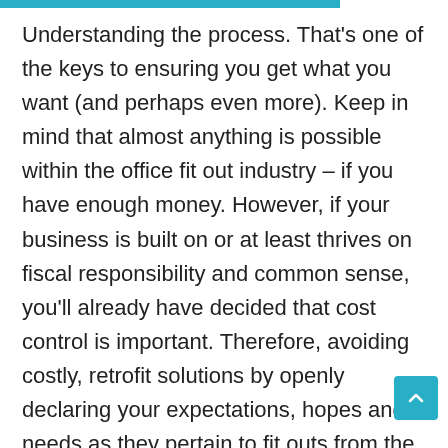Understanding the process. That's one of the keys to ensuring you get what you want (and perhaps even more). Keep in mind that almost anything is possible within the office fit out industry – if you have enough money. However, if your business is built on or at least thrives on fiscal responsibility and common sense, you'll already have decided that cost control is important. Therefore, avoiding costly, retrofit solutions by openly declaring your expectations, hopes and needs as they pertain to fit outs from the outset, appointing a team with optimal experience and expertise and capitalising, underlining, italicising due diligence, you will get more without leaving your budget in tatters